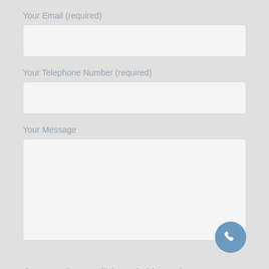Your Email (required)
[Figure (other): Empty email input field (text box)]
Your Telephone Number (required)
[Figure (other): Empty telephone number input field (text box)]
Your Message
[Figure (other): Empty message textarea (large text box) with a blue circular phone icon button in the bottom-right corner]
If you send an email through this service, your